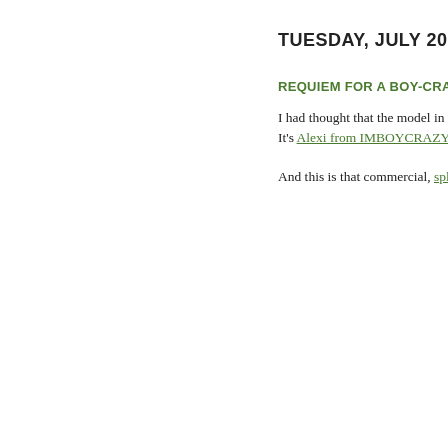TUESDAY, JULY 20, 2...
REQUIEM FOR A BOY-CRAZY R...
I had thought that the model in tha... It’s Alexi from IMBOYCRAZY.COM...
And this is that commercial, splice...